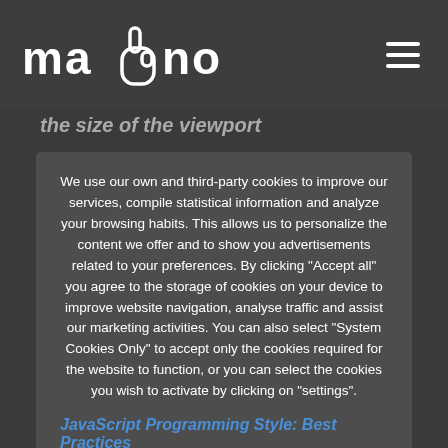mano (logo) — hamburger menu
the size of the viewport
We use our own and third-party cookies to improve our services, compile statistical information and analyze your browsing habits. This allows us to personalize the content we offer and to show you advertisements related to your preferences. By clicking "Accept all" you agree to the storage of cookies on your device to improve website navigation, analyse traffic and assist our marketing activities. You can also select "System Cookies Only" to accept only the cookies required for the website to function, or you can select the cookies you wish to activate by clicking on "settings".
JavaScript Programming Style: Best Practices
Accept All
Only sistem cookies
Configuration